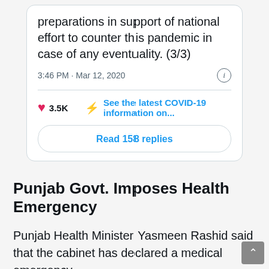[Figure (screenshot): Screenshot of a tweet showing partial text about national effort to counter pandemic, timestamp 3:46 PM Mar 12, 2020, with 3.5K likes and COVID-19 info link and Read 158 replies button]
Punjab Govt. Imposes Health Emergency
Punjab Health Minister Yasmeen Rashid said that the cabinet has declared a medical emergency.
Addressing a press briefing in Lahore, she said that hospitals across the province have been put